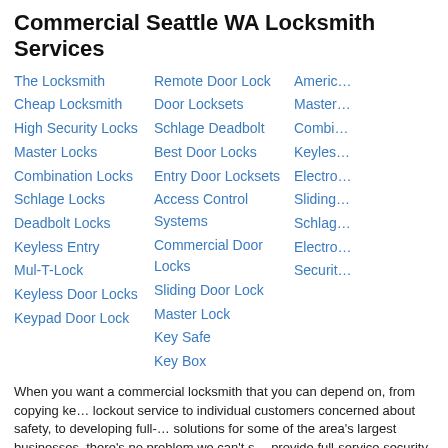Commercial Seattle WA Locksmith Services
The Locksmith
Cheap Locksmith
High Security Locks
Master Locks
Combination Locks
Schlage Locks
Deadbolt Locks
Keyless Entry
Mul-T-Lock
Keyless Door Locks
Keypad Door Lock
Remote Door Lock
Door Locksets
Schlage Deadbolt
Best Door Locks
Entry Door Locksets
Access Control Systems
Commercial Door Locks
Sliding Door Lock
Master Lock
Key Safe
Key Box
Americ…
Master…
Combi…
Keyles…
Electro…
Sliding…
Schlag…
Electro…
Securit…
When you want a commercial locksmith that you can depend on, from copying ke… lockout service to individual customers concerned about safety, to developing full-… solutions for some of the area's largest businesses, there's no problem we can't s… provide full-service security solutions to some of the most technologically advance… the world.
Emergency Seattle WA Locksmith Services
Locksmith
24 Hour Locksmith
Emergency Locksmith
Locksmithing
Affordable Locksmith
Lock Replacement
Door H…
Discou…
Securit…